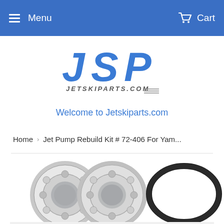Menu   Cart
[Figure (logo): JSP Jetskiparts.com logo in blue stylized lettering]
Welcome to Jetskiparts.com
Home › Jet Pump Rebuild Kit # 72-406 For Yam...
[Figure (photo): Product image showing jet pump rebuild kit components: two ball bearings and an O-ring seal, with partial view of additional seals below]